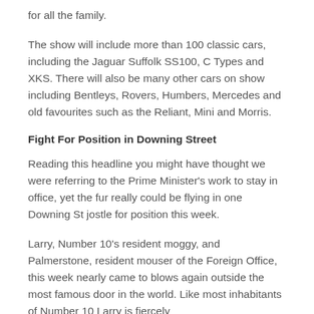for all the family.
The show will include more than 100 classic cars, including the Jaguar Suffolk SS100, C Types and XKS. There will also be many other cars on show including Bentleys, Rovers, Humbers, Mercedes and old favourites such as the Reliant, Mini and Morris.
Fight For Position in Downing Street
Reading this headline you might have thought we were referring to the Prime Minister's work to stay in office, yet the fur really could be flying in one Downing St jostle for position this week.
Larry, Number 10's resident moggy, and Palmerstone, resident mouser of the Foreign Office, this week nearly came to blows again outside the most famous door in the world. Like most inhabitants of Number 10 Larry is fiercely